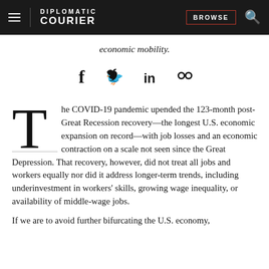DIPLOMATIC COURIER | BROWSE
economic mobility.
[Figure (other): Social sharing icons: Facebook (f), Twitter (bird), LinkedIn (in), link/chain icon]
The COVID-19 pandemic upended the 123-month post-Great Recession recovery—the longest U.S. economic expansion on record—with job losses and an economic contraction on a scale not seen since the Great Depression. That recovery, however, did not treat all jobs and workers equally nor did it address longer-term trends, including underinvestment in workers' skills, growing wage inequality, or availability of middle-wage jobs.
If we are to avoid further bifurcating the U.S. economy,